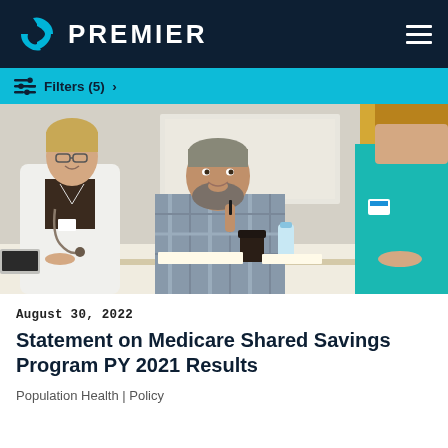PREMIER
Filters (5) >
[Figure (photo): Three healthcare professionals at a meeting table: a female doctor in white coat with stethoscope smiling, a bearded man in plaid shirt holding a pen gesturing, and a person in teal scrubs with a badge in the foreground.]
August 30, 2022
Statement on Medicare Shared Savings Program PY 2021 Results
Population Health | Policy